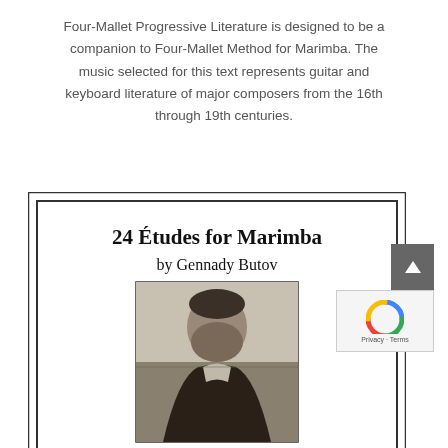Four-Mallet Progressive Literature is designed to be a companion to Four-Mallet Method for Marimba. The music selected for this text represents guitar and keyboard literature of major composers from the 16th through 19th centuries.
[Figure (illustration): Book cover for '24 Études for Marimba by Gennady Butov' showing a black and white portrait photograph of a bearded man.]